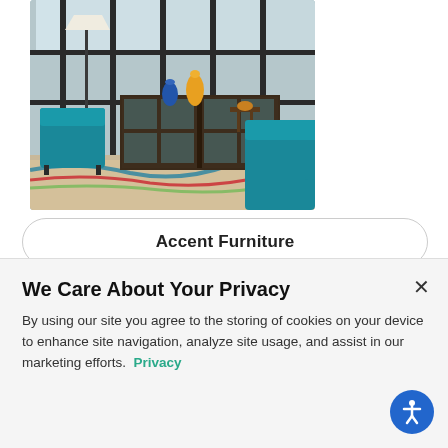[Figure (photo): Interior room scene with teal/turquoise leather accent chairs, a dark wood display cabinet with glass doors, a tripod floor lamp, colorful area rug, and large industrial-style windows in the background.]
Accent Furniture
[Figure (photo): Bedroom scene with framed artwork, a dark wood dresser with a tall mirror, decorative lamps and accent pieces on top of the dresser.]
We Care About Your Privacy
By using our site you agree to the storing of cookies on your device to enhance site navigation, analyze site usage, and assist in our marketing efforts.  Privacy